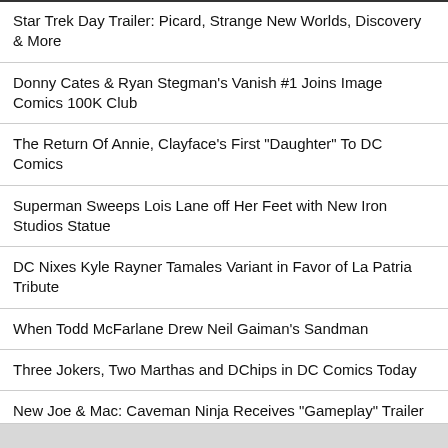Star Trek Day Trailer: Picard, Strange New Worlds, Discovery & More
Donny Cates & Ryan Stegman's Vanish #1 Joins Image Comics 100K Club
The Return Of Annie, Clayface's First "Daughter" To DC Comics
Superman Sweeps Lois Lane off Her Feet with New Iron Studios Statue
DC Nixes Kyle Rayner Tamales Variant in Favor of La Patria Tribute
When Todd McFarlane Drew Neil Gaiman's Sandman
Three Jokers, Two Marthas and DChips in DC Comics Today
New Joe & Mac: Caveman Ninja Receives "Gameplay" Trailer